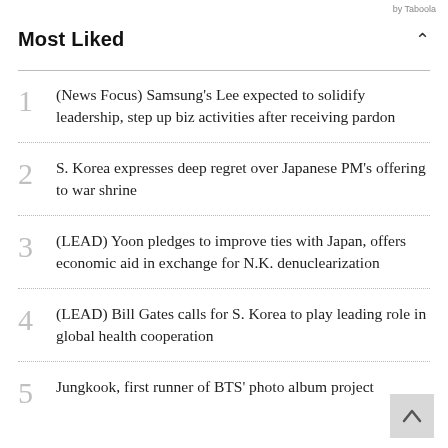by Taboola
Most Liked
1 (News Focus) Samsung's Lee expected to solidify leadership, step up biz activities after receiving pardon
2 S. Korea expresses deep regret over Japanese PM's offering to war shrine
3 (LEAD) Yoon pledges to improve ties with Japan, offers economic aid in exchange for N.K. denuclearization
4 (LEAD) Bill Gates calls for S. Korea to play leading role in global health cooperation
5 Jungkook, first runner of BTS' photo album project